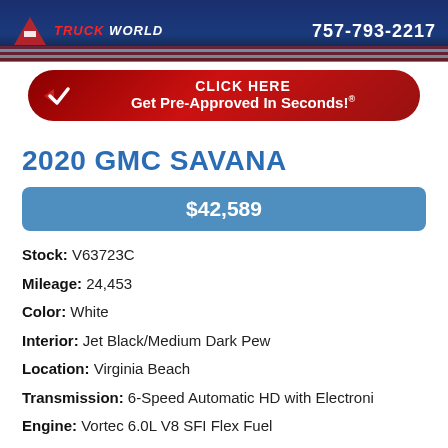[Figure (screenshot): Truck World dealership banner with red logo text 'TRUCK WORLD', phone number 757-793-2217, on a dark blue background with American flag stripes at bottom]
[Figure (screenshot): Red rounded rectangle CTA button with white checkmark, text 'CLICK HERE Get Pre-Approved In Seconds!' with registered trademark symbol]
2020 GMC SAVANA
$42,589
Stock: V63723C
Mileage: 24,453
Color: White
Interior: Jet Black/Medium Dark Pew
Location: Virginia Beach
Transmission: 6-Speed Automatic HD with Electroni
Engine: Vortec 6.0L V8 SFI Flex Fuel
VIN Click To View